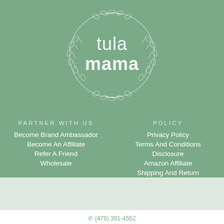[Figure (logo): Tula Mama logo with decorative botanical wreath circle and text 'tula mama' in white on green background]
PARTNER WITH US
Become Brand Ambassador
Become An Affiliate
Refer A Friend
Wholesale
POLICY
Privacy Policy
Terms And Conditions
Disclosure
Amazon Affiliate
Shipping And Return
(479) 391-4552